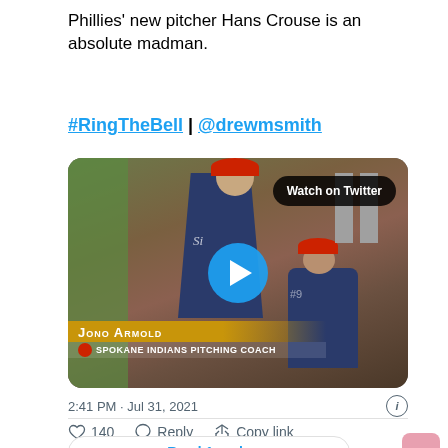Phillies' new pitcher Hans Crouse is an absolute madman.
#RingTheBell | @drewmsmith
[Figure (screenshot): Twitter/X embedded video thumbnail showing baseball players on a field. A play button is overlaid. Lower-third graphics read 'Jono Armold - Spokane Indians Pitching Coach'. A 'Watch on Twitter' badge appears in the top-right corner.]
2:41 PM · Jul 31, 2021
♡  140    Reply    Copy link
Read 1 reply